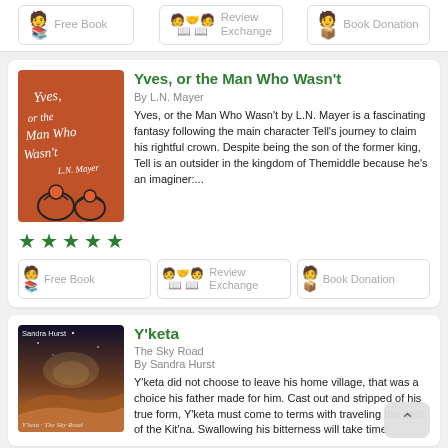[Figure (infographic): Top action bar with three buttons: Free Book, Review Exchange, Book Donation, each with emoji icons]
[Figure (illustration): Book card for 'Yves, or the Man Who Wasn't' by L.N. Mayer, orange cover with hand-drawn faces, 5 green stars, three action buttons]
Yves, or the Man Who Wasn't
By L.N. Mayer
Yves, or the Man Who Wasn't by L.N. Mayer is a fascinating fantasy following the main character Tell's journey to claim his rightful crown. Despite being the son of the former king, Tell is an outsider in the kingdom of Themiddle because he's an imaginer:...
[Figure (illustration): Book card for Y'keta by Sandra Hurst, cosmic/desert cover]
Y'keta
The Sky Road
By Sandra Hurst
Y'keta did not choose to leave his home village, that was a choice his father made for him. Cast out and stripped of his true form, Y'keta must come to terms with traveling the path of the Kit'na. Swallowing his bitterness will take time